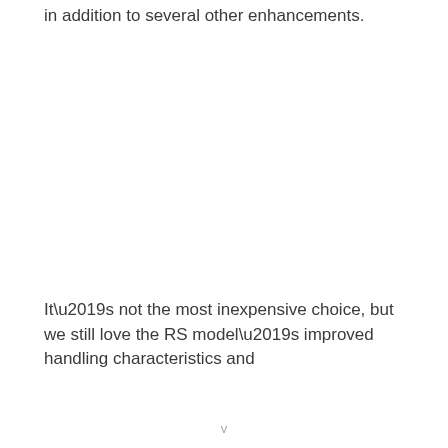in addition to several other enhancements.
It’s not the most inexpensive choice, but we still love the RS model’s improved handling characteristics and
v